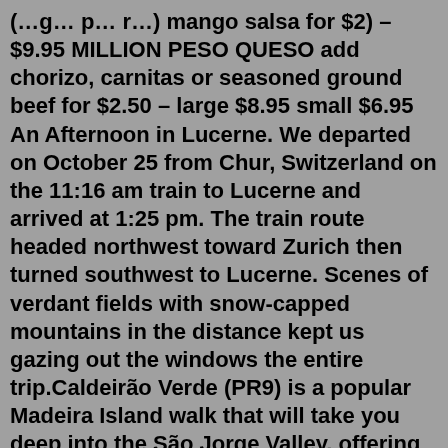(…g… p… r…) mango salsa for $2) – $9.95 MILLION PESO QUESO add chorizo, carnitas or seasoned ground beef for $2.50 – large $8.95 small $6.95 An Afternoon in Lucerne. We departed on October 25 from Chur, Switzerland on the 11:16 am train to Lucerne and arrived at 1:25 pm. The train route headed northwest toward Zurich then turned southwest to Lucerne. Scenes of verdant fields with snow-capped mountains in the distance kept us gazing out the windows the entire trip.Caldeirão Verde (PR9) is a popular Madeira Island walk that will take you deep into the São Jorge Valley, offering you great views of green hills and small waterfalls. Almost 6 km and 4 small tunnels later you will arrive at the approx 100m high Caldeirão Verde waterfall falling into a beautifully colored lagoon. (*Currently closed, read below)Alejandra F. 6 photos 5 1 1 David D. Our customer service team can certainly assist you in addressing and resolving this matter. Read more 1 2 3 4 5 6 7 https://www.misslola.com (562) 222-1703 Get